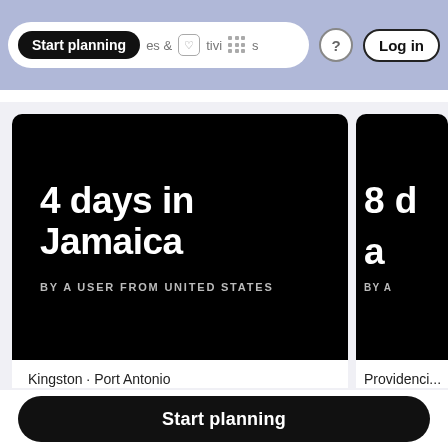Start planning · Activities · ? · Log in
[Figure (screenshot): Travel itinerary card showing '4 days in Jamaica' on a black background, BY A USER FROM UNITED STATES, below shows Kingston · Port Antonio]
[Figure (screenshot): Partial travel card showing '8 d...' and 'a...' on black background, BY A..., below shows Providenci...]
Kingston · Port Antonio
Providenci...
Start planning